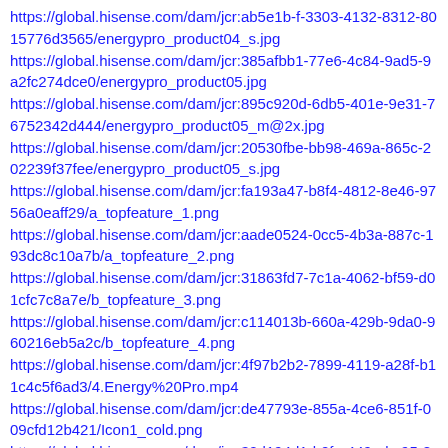https://global.hisense.com/dam/jcr:ab5e1b-f-3303-4132-8312-8015776d3565/energypro_product04_s.jpg
https://global.hisense.com/dam/jcr:385afbb1-77e6-4c84-9ad5-9a2fc274dce0/energypro_product05.jpg
https://global.hisense.com/dam/jcr:895c920d-6db5-401e-9e31-76752342d444/energypro_product05_m@2x.jpg
https://global.hisense.com/dam/jcr:20530fbe-bb98-469a-865c-202239f37fee/energypro_product05_s.jpg
https://global.hisense.com/dam/jcr:fa193a47-b8f4-4812-8e46-9756a0eaff29/a_topfeature_1.png
https://global.hisense.com/dam/jcr:aade0524-0cc5-4b3a-887c-193dc8c10a7b/a_topfeature_2.png
https://global.hisense.com/dam/jcr:31863fd7-7c1a-4062-bf59-d01cfc7c8a7e/b_topfeature_3.png
https://global.hisense.com/dam/jcr:c114013b-660a-429b-9da0-960216eb5a2c/b_topfeature_4.png
https://global.hisense.com/dam/jcr:4f97b2b2-7899-4119-a28f-b11c4c5f6ad3/4.Energy%20Pro.mp4
https://global.hisense.com/dam/jcr:de47793e-855a-4ce6-851f-009cfd12b421/Icon1_cold.png
https://global.hisense.com/dam/jcr:30d194d1-b0fa-449e-bc95-895f42bf7e10/energypro_banner2.jpg
https://global.hisense.com/dam/jcr:666d510d-d7af-4925-b467-e5146274ef46/energypro_banner2@2x.jpg
https://global.hisense.com/dam/jcr:28786d99-0703-43c1-8ee1-566c1301a8ef/energypro_banner2_carousel01.jpg